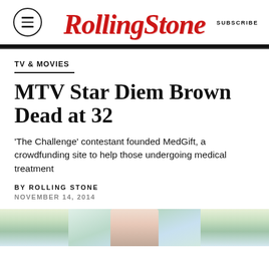Rolling Stone — SUBSCRIBE
TV & MOVIES
MTV Star Diem Brown Dead at 32
'The Challenge' contestant founded MedGift, a crowdfunding site to help those undergoing medical treatment
BY ROLLING STONE
NOVEMBER 14, 2014
[Figure (photo): Photo of Diem Brown, partially visible at bottom of page]